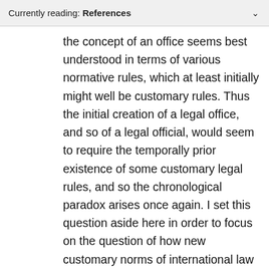Currently reading: References
the concept of an office seems best understood in terms of various normative rules, which at least initially might well be customary rules. Thus the initial creation of a legal office, and so of a legal official, would seem to require the temporally prior existence of some customary legal rules, and so the chronological paradox arises once again. I set this question aside here in order to focus on the question of how new customary norms of international law come to be part of an already existing international legal order (which includes, among other things, international legal officials). For one account of this issue